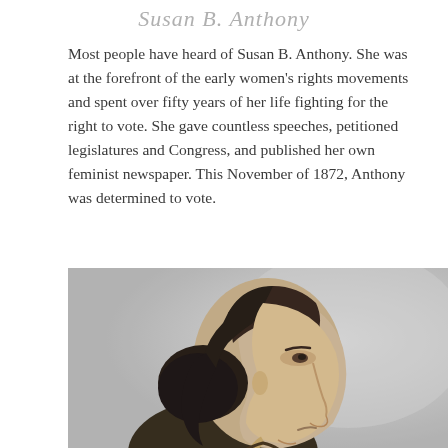Susan B. Anthony
Most people have heard of Susan B. Anthony. She was at the forefront of the early women's rights movements and spent over fifty years of her life fighting for the right to vote. She gave countless speeches, petitioned legislatures and Congress, and published her own feminist newspaper. This November of 1872, Anthony was determined to vote.
[Figure (photo): Black and white profile portrait photograph of Susan B. Anthony, showing her in side profile facing right, with dark hair pulled back in a bun, wearing a dark dress.]